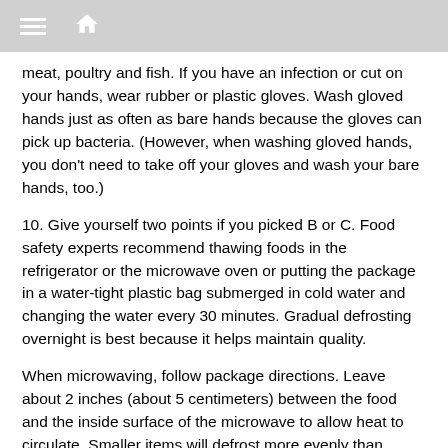meat, poultry and fish. If you have an infection or cut on your hands, wear rubber or plastic gloves. Wash gloved hands just as often as bare hands because the gloves can pick up bacteria. (However, when washing gloved hands, you don't need to take off your gloves and wash your bare hands, too.)
10. Give yourself two points if you picked B or C. Food safety experts recommend thawing foods in the refrigerator or the microwave oven or putting the package in a water-tight plastic bag submerged in cold water and changing the water every 30 minutes. Gradual defrosting overnight is best because it helps maintain quality.
When microwaving, follow package directions. Leave about 2 inches (about 5 centimeters) between the food and the inside surface of the microwave to allow heat to circulate. Smaller items will defrost more evenly than larger pieces of food. Foods defrosted in the microwave oven should be cooked immediately after thawing.
Do not thaw meat, poultry and fish products on the counter or in the sink without cold water; bacteria can multiply rapidly at room temperature.